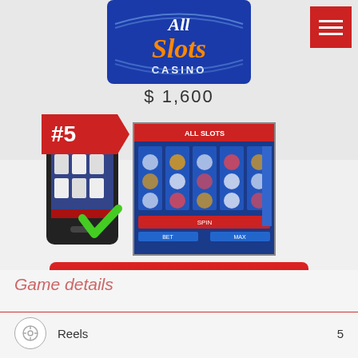[Figure (logo): All Slots Casino logo - blue background with orange 'Slots' text and 'All' in black script]
$ 1,600
[Figure (infographic): #5 badge in red with arrow shape, mobile phone with slots game and green checkmark, slots game screenshot]
[Figure (other): Red PLAY! button with dark star icon]
Read Review
Game details
Reels	5